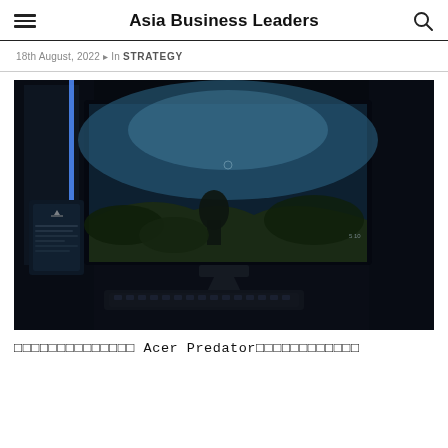Asia Business Leaders
18th August, 2022 ▸ In STRATEGY
[Figure (photo): Gaming setup featuring an Acer Predator ultrawide curved monitor displaying a dark jungle/forest game scene, with a keyboard and Predator branded display stand visible in a dimly lit environment.]
□□□□□□□□□□□□□□ Acer Predator□□□□□□□□□□□□